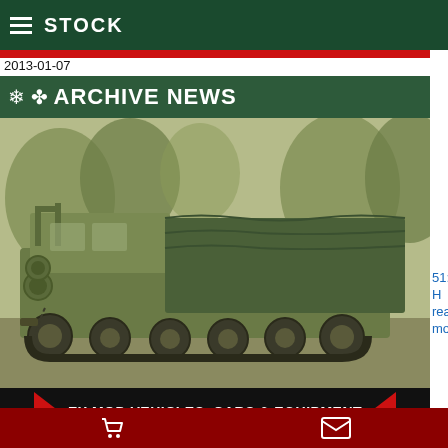STOCK
2013-01-07
ARCHIVE NEWS
[Figure (photo): Sepia-toned photograph of a military tracked armored vehicle (M270 MLRS or similar) with a covered cargo area, photographed outdoors with trees in background.]
EX MOD VEHICLES, CARS & EQUIPMENT
51: H ready more
2012-12-17
ARCHIVE NEWS